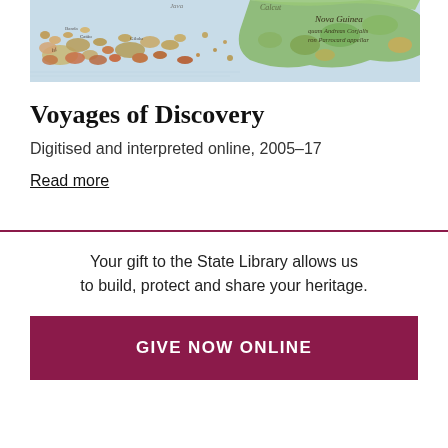[Figure (photo): Historical antique map showing islands and coastlines with Latin inscriptions including 'Nova Guinea']
Voyages of Discovery
Digitised and interpreted online, 2005–17
Read more
Your gift to the State Library allows us to build, protect and share your heritage.
GIVE NOW ONLINE